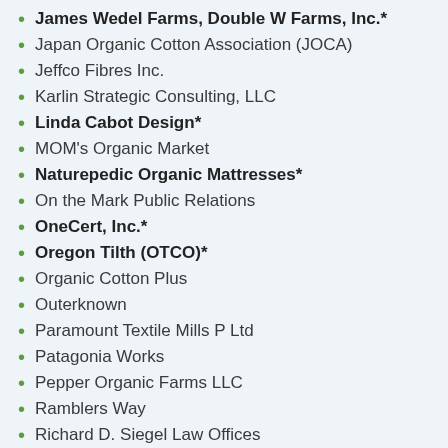James Wedel Farms, Double W Farms, Inc.*
Japan Organic Cotton Association (JOCA)
Jeffco Fibres Inc.
Karlin Strategic Consulting, LLC
Linda Cabot Design*
MOM's Organic Market
Naturepedic Organic Mattresses*
On the Mark Public Relations
OneCert, Inc.*
Oregon Tilth (OTCO)*
Organic Cotton Plus
Outerknown
Paramount Textile Mills P Ltd
Patagonia Works
Pepper Organic Farms LLC
Ramblers Way
Richard D. Siegel Law Offices
Sleep On Latex
Synergy Organic Clothing